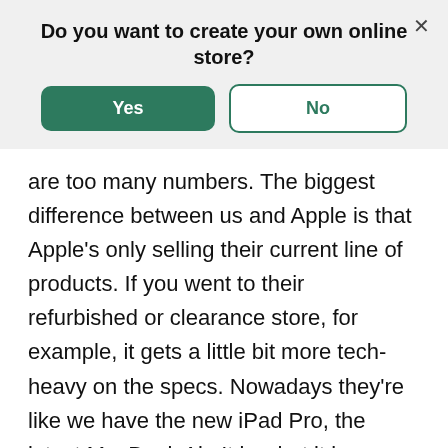[Figure (screenshot): Modal dialog with title 'Do you want to create your own online store?' and two buttons: 'Yes' (green filled) and 'No' (green outline), with an X close button in the top right corner.]
are too many numbers. The biggest difference between us and Apple is that Apple's only selling their current line of products. If you went to their refurbished or clearance store, for example, it gets a little bit more tech-heavy on the specs. Nowadays they're like we have the new iPad Pro, the latest MacBook Air. It is what it is versus we're catering to our market that is buying renewed devices and the specs out there. Typically we want to tell a customer everything we possibly can to help avoid any